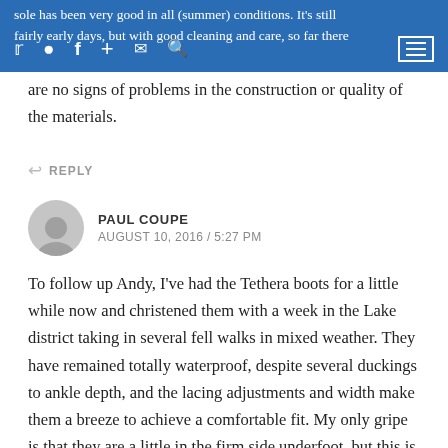sole has been very good in all (summer) conditions. It's still fairly early days, but with good cleaning and care, so far there are no signs of problems in the construction or quality of the materials.
REPLY
PAUL COUPE
AUGUST 10, 2016 / 5:27 PM
To follow up Andy, I've had the Tethera boots for a little while now and christened them with a week in the Lake district taking in several fell walks in mixed weather. They have remained totally waterproof, despite several duckings to ankle depth, and the lacing adjustments and width make them a breeze to achieve a comfortable fit. My only gripe is that they are a little in the firm side underfoot, but this is no doubt compounded by the orthotics I have to wear which have very little give in them. The bots strike a great balance between relatively light weight for a leather boot, and support, having